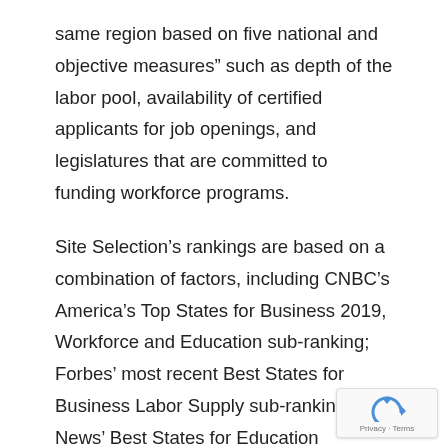same region based on five national and objective measures” such as depth of the labor pool, availability of certified applicants for job openings, and legislatures that are committed to funding workforce programs.
Site Selection’s rankings are based on a combination of factors, including CNBC’s America’s Top States for Business 2019, Workforce and Education sub-ranking; Forbes’ most recent Best States for Business Labor Supply sub-ranking; U.S. News’ Best States for Education rankings; ACT National Career Readiness Certificates rankings; and the workforce preparation and development component of the State Economic Development Program Expenditures Database from Council for Community and Economic Research.
[Figure (logo): reCAPTCHA badge with Privacy and Terms links]